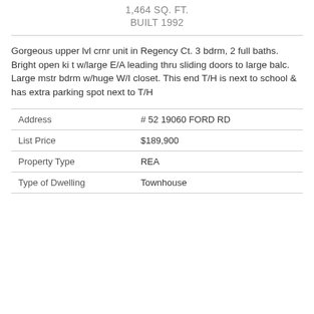1,464 SQ. FT.
BUILT 1992
Gorgeous upper lvl crnr unit in Regency Ct. 3 bdrm, 2 full baths. Bright open ki t w/large E/A leading thru sliding doors to large balc. Large mstr bdrm w/huge W/I closet. This end T/H is next to school & has extra parking spot next to T/H
|  |  |
| --- | --- |
| Address | # 52 19060 FORD RD |
| List Price | $189,900 |
| Property Type | REA |
| Type of Dwelling | Townhouse |